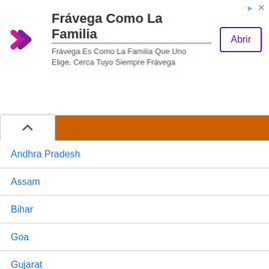[Figure (other): Advertisement banner for Frávega Como La Familia with logo, text, and Abrir button]
Andhra Pradesh
Assam
Bihar
Goa
Gujarat
Haryana
Himachal Pradesh
Jamu Kahsmir Jobs
Jharkhand
Karnataka Jobs